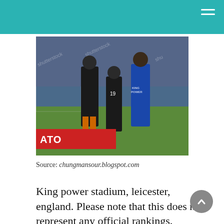[Figure (photo): Football match photo showing players from Chelsea (black kit) and Leicester City (blue kit) at King Power Stadium, with shutterstock watermarks]
Source: chungmansour.blogspot.com
King power stadium, leicester, england. Please note that this does not represent any official rankings.
[Figure (photo): Starting Xl Chelsea Vs Leicester City Predicted Score]
Starting Xl Chelsea Vs Leicester City Predicted Score